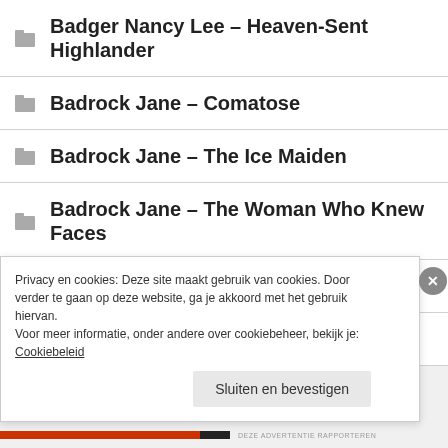Badger Nancy Lee – Heaven-Sent Highlander
Badrock Jane – Comatose
Badrock Jane – The Ice Maiden
Badrock Jane – The Woman Who Knew Faces
Badrock Jane – Three Little Girls
Bailey Kristen – Am I Allergic to Men?
Privacy en cookies: Deze site maakt gebruik van cookies. Door verder te gaan op deze website, ga je akkoord met het gebruik hiervan. Voor meer informatie, onder andere over cookiebeheer, bekijk je: Cookiebeleid
Sluiten en bevestigen